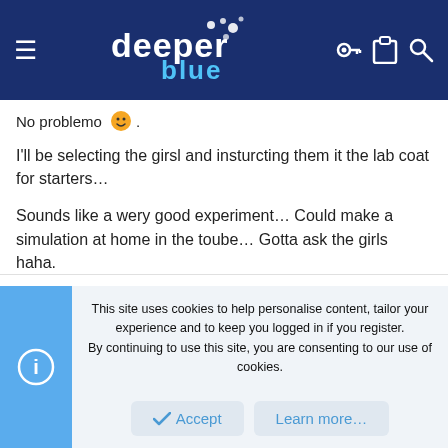deeper blue
No problemo 😊.
I'll be selecting the girsl and insturcting them it the lab coat for starters...
Sounds like a wery good experiment... Could make a simulation at home in the toube... Gotta ask the girls haha.
This site uses cookies to help personalise content, tailor your experience and to keep you logged in if you register.
By continuing to use this site, you are consenting to our use of cookies.